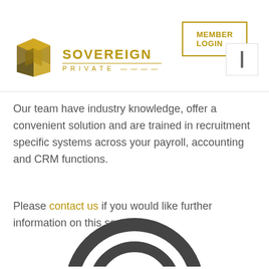MEMBER LOGIN
[Figure (logo): Sovereign Private logo with gold geometric cube icon and gold text 'SOVEREIGN PRIVATE']
Our team have industry knowledge, offer a convenient solution and are trained in recruitment specific systems across your payroll, accounting and CRM functions.
Please contact us if you would like further information on this service.
[Figure (illustration): Partial circular target/bullseye icon in dark grey and gold, shown at bottom of page]